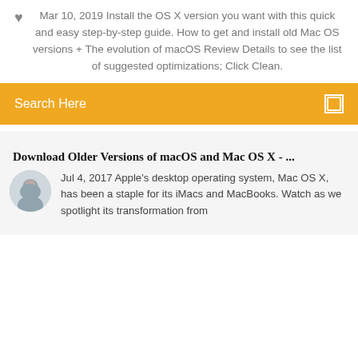Mar 10, 2019 Install the OS X version you want with this quick and easy step-by-step guide. How to get and install old Mac OS versions + The evolution of macOS Review Details to see the list of suggested optimizations; Click Clean.
[Figure (other): Orange search bar with text 'Search Here' and a search icon on the right]
Download Older Versions of macOS and Mac OS X - ...
[Figure (photo): Circular avatar photo of a man]
Jul 4, 2017 Apple's desktop operating system, Mac OS X, has been a staple for its iMacs and MacBooks. Watch as we spotlight its transformation from